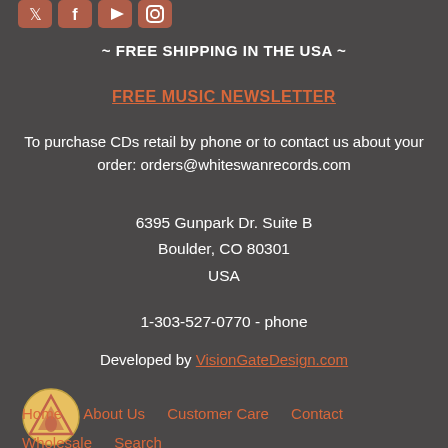[Figure (logo): Social media icons: Twitter, Facebook, YouTube, Instagram in salmon/orange color]
~ FREE SHIPPING IN THE USA ~
FREE MUSIC NEWSLETTER
To purchase CDs retail by phone or to contact us about your order: orders@whiteswanrecords.com
6395 Gunpark Dr. Suite B
Boulder, CO 80301
USA
1-303-527-0770 - phone
Developed by VisionGateDesign.com
[Figure (logo): White Swan Records circular logo with triangle/flame symbol]
Home   About Us   Customer Care   Contact   Wholesale   Search